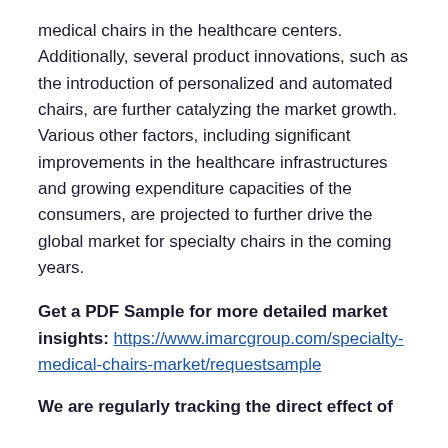medical chairs in the healthcare centers. Additionally, several product innovations, such as the introduction of personalized and automated chairs, are further catalyzing the market growth. Various other factors, including significant improvements in the healthcare infrastructures and growing expenditure capacities of the consumers, are projected to further drive the global market for specialty chairs in the coming years.
Get a PDF Sample for more detailed market insights: https://www.imarcgroup.com/specialty-medical-chairs-market/requestsample
We are regularly tracking the direct effect of